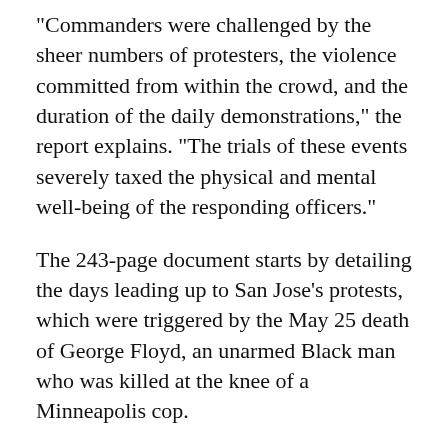“Commanders were challenged by the sheer numbers of protesters, the violence committed from within the crowd, and the duration of the daily demonstrations,” the report explains. “The trials of these events severely taxed the physical and mental well-being of the responding officers.”
The 243-page document starts by detailing the days leading up to San Jose’s protests, which were triggered by the May 25 death of George Floyd, an unarmed Black man who was killed at the knee of a Minneapolis cop.
SJPD received numerous “intelligence bulletins” from the Northern California Regional Intelligence Center (NCRIC) “warning of criminal activity, looting and